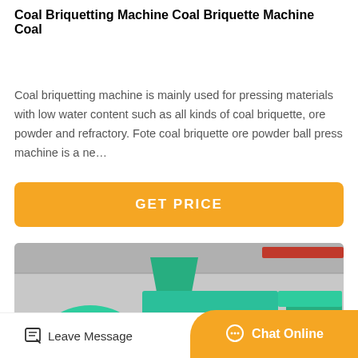Coal Briquetting Machine Coal Briquette Machine Coal
Coal briquetting machine is mainly used for pressing materials with low water content such as all kinds of coal briquette, ore powder and refractory. Fote coal briquette ore powder ball press machine is a ne…
[Figure (other): Orange/yellow GET PRICE button]
[Figure (photo): Industrial coal briquetting machines in a factory, large teal/green colored machines with hoppers and press rollers visible]
Leave Message
Chat Online